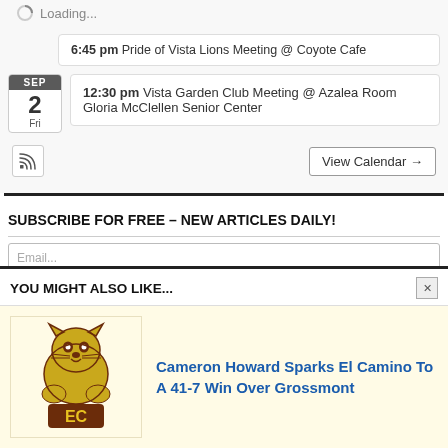Loading...
6:45 pm Pride of Vista Lions Meeting @ Coyote Cafe
SEP 2 Fri — 12:30 pm Vista Garden Club Meeting @ Azalea Room Gloria McClellen Senior Center
View Calendar →
SUBSCRIBE FOR FREE – NEW ARTICLES DAILY!
Email...
YOU MIGHT ALSO LIKE...
[Figure (logo): El Camino Wildcats mascot logo in gold and dark red with EC letters]
Cameron Howard Sparks El Camino To A 41-7 Win Over Grossmont